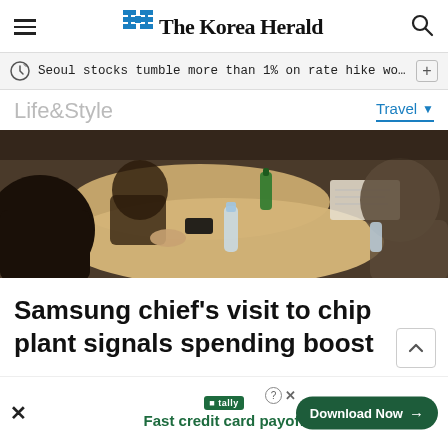The Korea Herald
Seoul stocks tumble more than 1% on rate hike woes; Korean w···
Life&Style   Travel
[Figure (photo): People sitting around a round wooden table with water bottles and a phone on the table, meeting scene]
Samsung chief's visit to chip plant signals spending boost
Fast credit card payoff